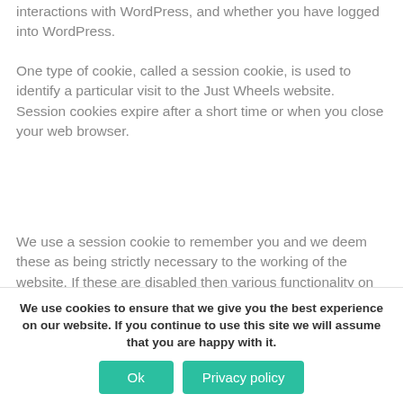interactions with WordPress, and whether you have logged into WordPress.
One type of cookie, called a session cookie, is used to identify a particular visit to the Just Wheels website. Session cookies expire after a short time or when you close your web browser.
We use a session cookie to remember you and we deem these as being strictly necessary to the working of the website. If these are disabled then various functionality on the site will be broken.
We use cookies to ensure that we give you the best experience on our website. If you continue to use this site we will assume that you are happy with it.